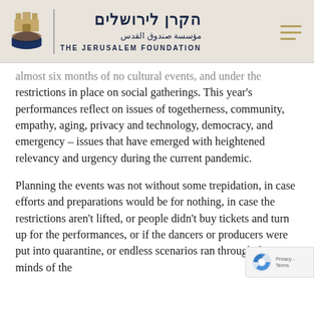הקרן לירושלים | מؤسسة صندوق القدس | THE JERUSALEM FOUNDATION
almost six months of no cultural events, and under the restrictions in place on social gatherings. This year's performances reflect on issues of togetherness, community, empathy, aging, privacy and technology, democracy, and emergency – issues that have emerged with heightened relevancy and urgency during the current pandemic.
Planning the events was not without some trepidation, in case efforts and preparations would be for nothing, in case the restrictions aren't lifted, or people didn't buy tickets and turn up for the performances, or if the dancers or producers were put into quarantine, or endless scenarios ran through the minds of the organizers. Nevertheless, in a positive spirit all...